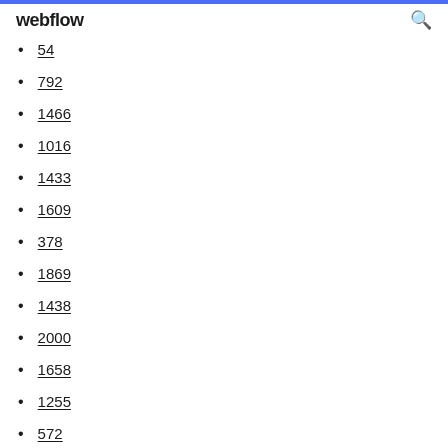webflow
54
792
1466
1016
1433
1609
378
1869
1438
2000
1658
1255
572